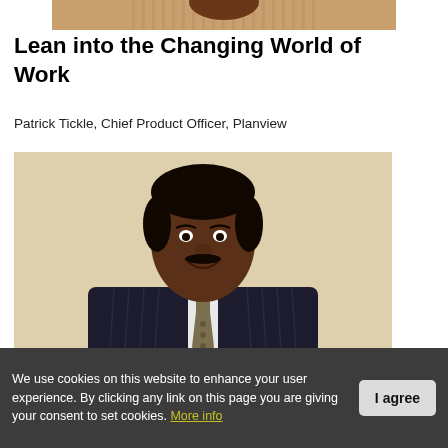[Figure (photo): Cropped top portion of a person in a striped shirt, visible from neck up, partially cropped at top of page]
Lean into the Changing World of Work
Patrick Tickle, Chief Product Officer, Planview
[Figure (photo): Portrait photograph of a man in a dark pinstripe suit, white shirt, and patterned tie, smiling, against a light beige background]
We use cookies on this website to enhance your user experience. By clicking any link on this page you are giving your consent to set cookies. More info